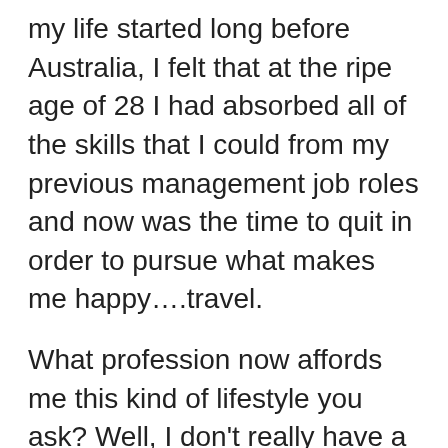my life started long before Australia, I felt that at the ripe age of 28 I had absorbed all of the skills that I could from my previous management job roles and now was the time to quit in order to pursue what makes me happy….travel.
What profession now affords me this kind of lifestyle you ask? Well, I don't really have a 'profession' par say, but I do have some skills under my belt to help me live my best life.
I learnt to build websites. I took some courses in digital marketing. I even dabbled in some social media content creation classes, even though I can't stand social media…
I learnt these because I knew it would set me